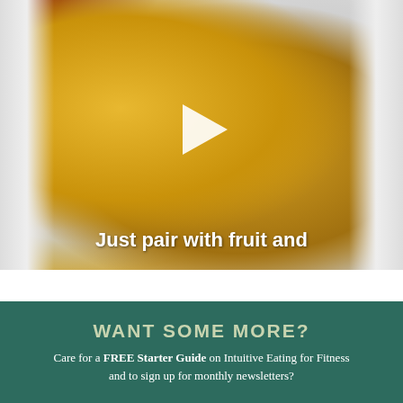[Figure (photo): Video thumbnail showing grocery bag with food items including yellow snack bars, red food packaging, and other grocery items. A white play button triangle is overlaid at the center. Text overlay at bottom reads 'Just pair with fruit and']
Just pair with fruit and
WANT SOME MORE?
Care for a FREE Starter Guide on Intuitive Eating for Fitness and to sign up for monthly newsletters?